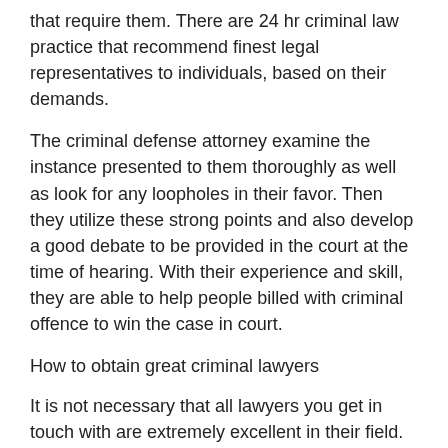that require them. There are 24 hr criminal law practice that recommend finest legal representatives to individuals, based on their demands.
The criminal defense attorney examine the instance presented to them thoroughly as well as look for any loopholes in their favor. Then they utilize these strong points and also develop a good debate to be provided in the court at the time of hearing. With their experience and skill, they are able to help people billed with criminal offence to win the case in court.
How to obtain great criminal lawyers
It is not necessary that all lawyers you get in touch with are extremely excellent in their field. To employ the solutions of the top attorneys of the city or the nation, you have to carry out a detailed research on the performance history of 24 hour criminal law office. These criminal law firms should have the top notch attorneys that are very knowledgeable and